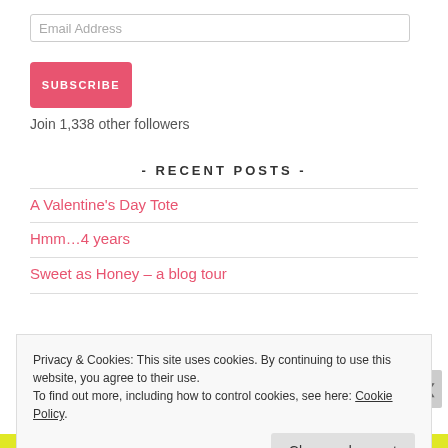Email Address
SUBSCRIBE
Join 1,338 other followers
- RECENT POSTS -
A Valentine's Day Tote
Hmm…4 years
Sweet as Honey – a blog tour
Privacy & Cookies: This site uses cookies. By continuing to use this website, you agree to their use.
To find out more, including how to control cookies, see here: Cookie Policy
Close and accept